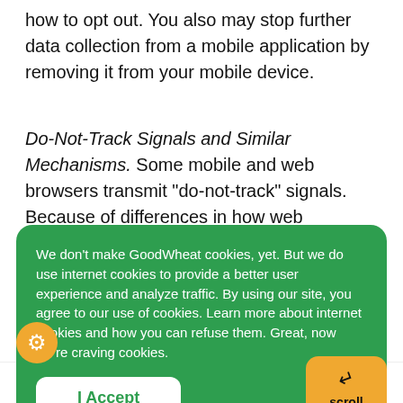how to opt out. You also may stop further data collection from a mobile application by removing it from your mobile device.
Do-Not-Track Signals and Similar Mechanisms. Some mobile and web browsers transmit "do-not-track" signals.  Because of differences in how web browsers incorporate and activate
[Figure (screenshot): Green cookie consent banner overlay with white text reading: 'We don't make GoodWheat cookies, yet. But we do use internet cookies to provide a better user experience and analyze traffic. By using our site, you agree to our use of cookies. Learn more about internet cookies and how you can refuse them. Great, now we're craving cookies.' with a white 'I Accept' button. An orange 'scroll to top' button with an arrow appears at bottom right. An orange gear/settings icon appears at bottom left.]
directly from GoodWheat, you can unsubscribe